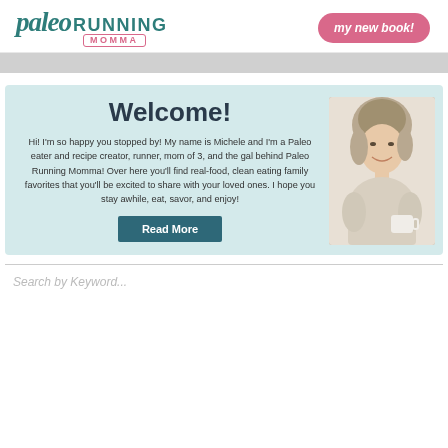paleo RUNNING MOMMA | my new book!
[Figure (photo): Woman holding a white mug, smiling, with short blonde hair, wearing a beige sweater, sitting on a couch]
Welcome!
Hi! I’m so happy you stopped by! My name is Michele and I’m a Paleo eater and recipe creator, runner, mom of 3, and the gal behind Paleo Running Momma! Over here you’ll find real-food, clean eating family favorites that you’ll be excited to share with your loved ones. I hope you stay awhile, eat, savor, and enjoy!
Read More
Search by Keyword...